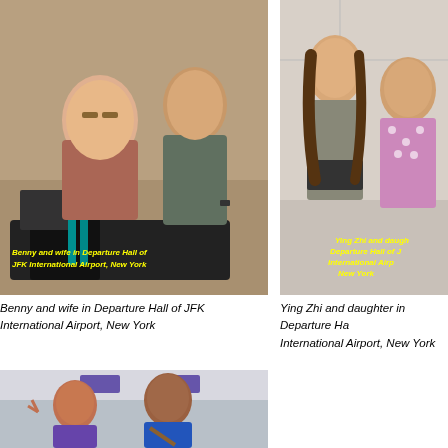[Figure (photo): Benny and wife standing in Departure Hall of JFK International Airport, New York, with luggage. Yellow text overlay on photo.]
Benny and wife in Departure Hall of JFK International Airport, New York
[Figure (photo): Ying Zhi and daughter posing in Departure Hall of JFK International Airport, New York. Yellow text overlay on photo.]
Ying Zhi and daughter in Departure Hall of JFK International Airport, New York
[Figure (photo): Two people smiling in an airport terminal, one making a peace sign, the other wearing a blue shirt with a bag strap.]